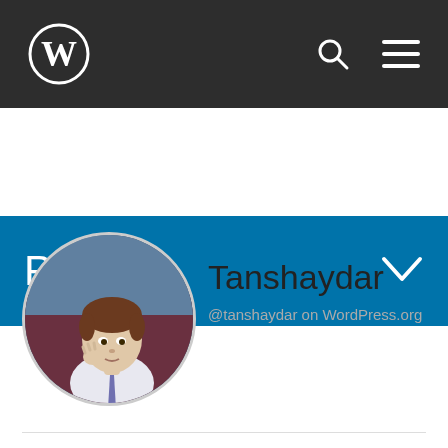[Figure (screenshot): Top navigation bar of WordPress.org with dark background, WordPress logo (W in circle) on the left, search icon and hamburger menu icon on the right]
Profiles
[Figure (illustration): Circular avatar of Tanshaydar: illustrated/cartoon style portrait of a young man in a white shirt thinking, with dark reddish background]
Tanshaydar
@tanshaydar on WordPress.org
| Field | Value |
| --- | --- |
| Member Since: | December 31st, 2008 |
| Location: | Ankara, Turkey |
| Website: | tanshaydar.com |
| Job Title: | Computer Engineer |